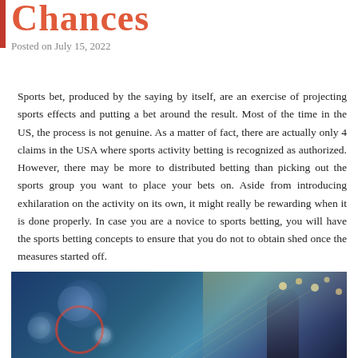Chances
Posted on July 15, 2022
Sports bet, produced by the saying by itself, are an exercise of projecting sports effects and putting a bet around the result. Most of the time in the US, the process is not genuine. As a matter of fact, there are actually only 4 claims in the USA where sports activity betting is recognized as authorized. However, there may be more to distributed betting than picking out the sports group you want to place your bets on. Aside from introducing exhilaration on the activity on its own, it might really be rewarding when it is done properly. In case you are a novice to sports betting, you will have the sports betting concepts to ensure that you do not to obtain shed once the measures started off.
[Figure (photo): Sports/action photograph with stadium lighting effects, bokeh orbs, and a silhouetted figure on the right side, dark blue atmospheric background]